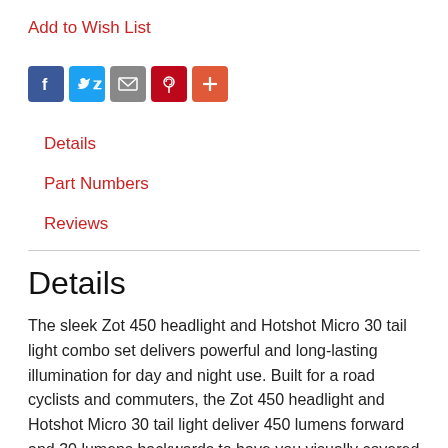Add to Wish List
[Figure (infographic): Social sharing icons: Facebook (blue), Twitter (light blue), Email (gray), Pinterest (red), Add/More (orange-red)]
Details
Part Numbers
Reviews
Details
The sleek Zot 450 headlight and Hotshot Micro 30 tail light combo set delivers powerful and long-lasting illumination for day and night use. Built for a road cyclists and commuters, the Zot 450 headlight and Hotshot Micro 30 tail light deliver 450 lumens forward and 30 lumens backwards to have you visually covered at night. Not only limited to night, both feature DayLightning mode to make